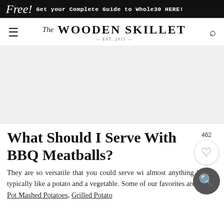Free! Get your Complete Guide to Whole30 HERE!
The Wooden Skillet EST. 2015
[Figure (photo): Light gray image placeholder area for a hero/food photograph]
What Should I Serve With BBQ Meatballs?
They are so versatile that you could serve wi almost anything but we typically like a potato and a vegetable. Some of our favorites are Instant Pot Mashed Potatoes, Grilled Potato